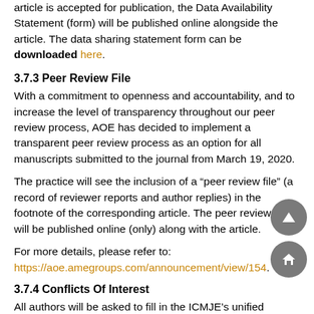article is accepted for publication, the Data Availability Statement (form) will be published online alongside the article. The data sharing statement form can be downloaded here.
3.7.3 Peer Review File
With a commitment to openness and accountability, and to increase the level of transparency throughout our peer review process, AOE has decided to implement a transparent peer review process as an option for all manuscripts submitted to the journal from March 19, 2020.
The practice will see the inclusion of a “peer review file” (a record of reviewer reports and author replies) in the footnote of the corresponding article. The peer review file will be published online (only) along with the article.
For more details, please refer to:
https://aoe.amegroups.com/announcement/view/154.
3.7.4 Conflicts Of Interest
All authors will be asked to fill in the ICMJE’s unified disclosure form (the latest version). The form could be downloaded at: https://cdn.amegroups.cn/static/public/coi_disclosure.docx. Each author should submit a separate form and is responsible for the accuracy and completeness of the submitted information. The